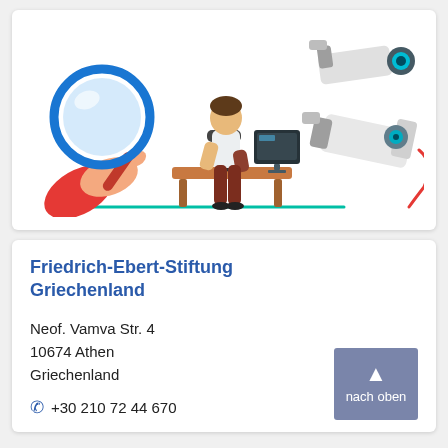[Figure (illustration): Flat-style illustration showing a large hand holding a magnifying glass on the left, a person sitting at a desk with a computer monitor in the center, and two security/surveillance cameras on the right.]
Friedrich-Ebert-Stiftung Griechenland
Neof. Vamva Str. 4
10674 Athen
Griechenland
+30 210 72 44 670
nach oben